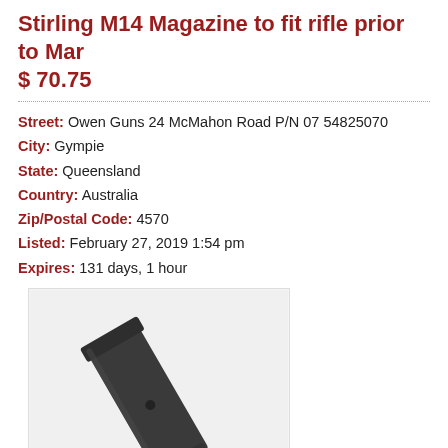Stirling M14 Magazine to fit rifle prior to Mar
$ 70.75
Street: Owen Guns 24 McMahon Road P/N 07 54825070
City: Gympie
State: Queensland
Country: Australia
Zip/Postal Code: 4570
Listed: February 27, 2019 1:54 pm
Expires: 131 days, 1 hour
[Figure (photo): A dark grey/black rectangular rifle magazine (Stirling M14) photographed at an angle on a white background, showing a small circular hole on its face.]